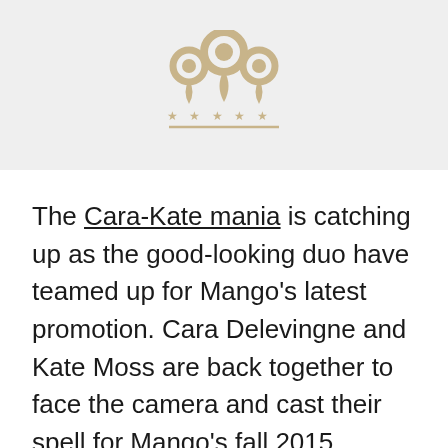[Figure (logo): A gold/tan colored logo consisting of three location pin shapes arranged together (two smaller ones flanking a larger one on top), with a row of five stars below and a horizontal line underneath, forming a crown-like emblem.]
The Cara-Kate mania is catching up as the good-looking duo have teamed up for Mango's latest promotion. Cara Delevingne and Kate Moss are back together to face the camera and cast their spell for Mango's fall 2015 campaign. Not new to each other, both had fun teaming up for the first time in the new My Burberry fragrance campaign last fall.